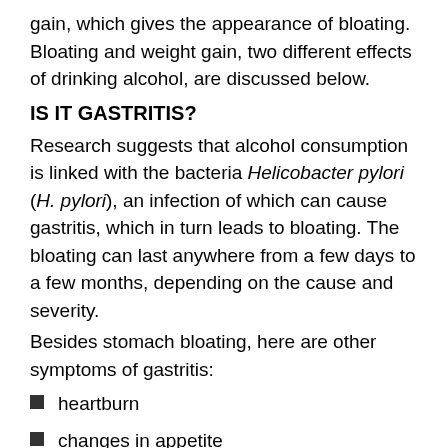gain, which gives the appearance of bloating. Bloating and weight gain, two different effects of drinking alcohol, are discussed below.
IS IT GASTRITIS?
Research suggests that alcohol consumption is linked with the bacteria Helicobacter pylori (H. pylori), an infection of which can cause gastritis, which in turn leads to bloating. The bloating can last anywhere from a few days to a few months, depending on the cause and severity.
Besides stomach bloating, here are other symptoms of gastritis:
heartburn
changes in appetite
abdominal pain
indigestion
nausea